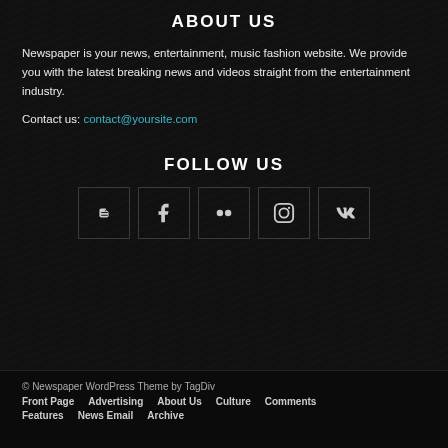ABOUT US
Newspaper is your news, entertainment, music fashion website. We provide you with the latest breaking news and videos straight from the entertainment industry.
Contact us: contact@yoursite.com
FOLLOW US
[Figure (other): Social media icon buttons: Blogger, Facebook, Flickr, Instagram, VK]
© Newspaper WordPress Theme by TagDiv
Front Page
Advertising
About Us
Culture
Comments
Features
News Email
Archive